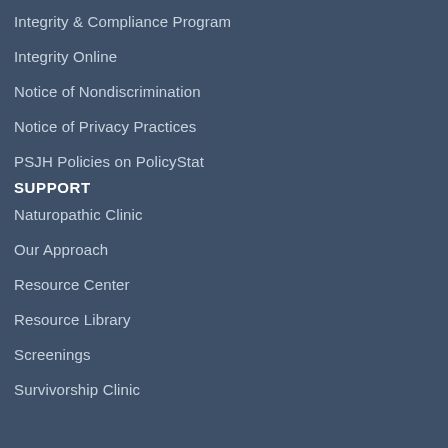Integrity & Compliance Program
Integrity Online
Notice of Nondiscrimination
Notice of Privacy Practices
PSJH Policies on PolicyStat
SUPPORT
Naturopathic Clinic
Our Approach
Resource Center
Resource Library
Screenings
Survivorship Clinic